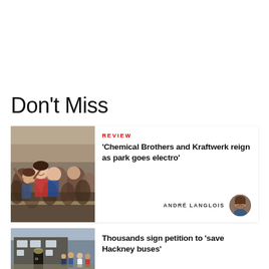Don't Miss
[Figure (photo): Crowd of concert-goers at an outdoor festival, smiling and cheering]
REVIEW
'Chemical Brothers and Kraftwerk reign as park goes electro'
ANDRÉ LANGLOIS
[Figure (photo): Group of people standing outside 10 Downing Street]
Thousands sign petition to 'save Hackney buses'